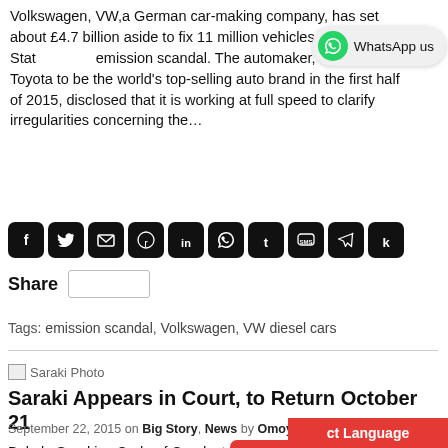Volkswagen, VW,a German car-making company, has set about £4.7 billion aside to fix 11 million vehicles in United States emission scandal. The automaker, which ousted Toyota to be the world's top-selling auto brand in the first half of 2015, disclosed that it is working at full speed to clarify irregularities concerning the…
[Figure (screenshot): WhatsApp us bubble button top right]
[Figure (screenshot): Row of social share icons: Facebook, Twitter, Email, Reddit, LinkedIn, WhatsApp, Tumblr, SMS, Telegram, Kik]
Share [input box]
Tags: emission scandal, Volkswagen, VW diesel cars
[Figure (photo): Saraki Photo placeholder image]
Saraki Appears in Court, to Return October 21
September 22, 2015 on Big Story, News by Omoyajowo Ogunyemi
Bukola Saraki, s… Code of Conduct Tribunal… es related to his asset declaration… nied to the tribunal by some… emadu, the deputy senate p…
[Figure (screenshot): Red social share popup with icons: Facebook, Twitter, Email, Reddit, LinkedIn, WhatsApp, Tumblr, SMS, Telegram, Kik, and Share label with input]
ct Language